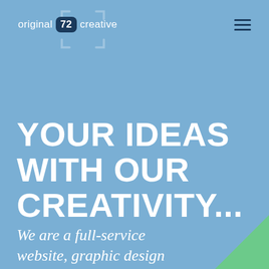[Figure (logo): original 72 creative logo with camera bracket graphic behind the badge]
YOUR IDEAS WITH OUR CREATIVITY...
We are a full-service website, graphic design